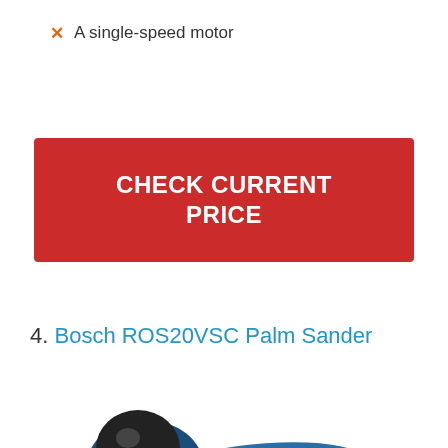A single-speed motor
CHECK CURRENT PRICE
4. Bosch ROS20VSC Palm Sander
[Figure (photo): Photo of a Bosch ROS20VSC Palm Sander — a blue and black electric random orbit sander seen from the side, with power cord extending to the right.]